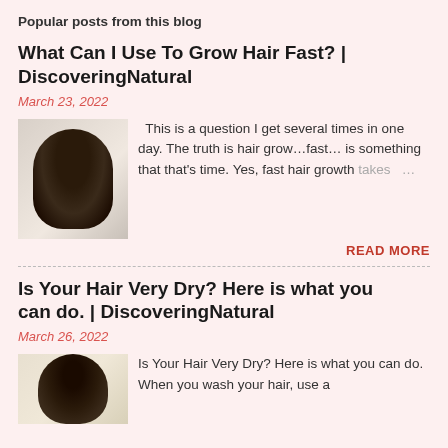Popular posts from this blog
What Can I Use To Grow Hair Fast? | DiscoveringNatural
March 23, 2022
[Figure (photo): Photo of a person with black braided hair viewed from the back, wearing a striped top]
This is a question I get several times in one day. The truth is hair grow…fast… is something that that's time. Yes, fast hair growth takes …
READ MORE
Is Your Hair Very Dry? Here is what you can do. | DiscoveringNatural
March 26, 2022
[Figure (photo): Photo of a person with natural hair]
Is Your Hair Very Dry? Here is what you can do. When you wash your hair, use a